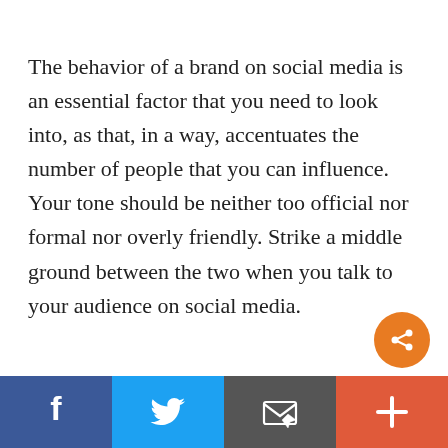The behavior of a brand on social media is an essential factor that you need to look into, as that, in a way, accentuates the number of people that you can influence. Your tone should be neither too official nor formal nor overly friendly. Strike a middle ground between the two when you talk to your audience on social media.
[Figure (infographic): Social media share/action toolbar with four buttons: Facebook (dark blue), Twitter (light blue), Email (dark grey), and More/Plus (orange-red). An orange circular share icon button floats above the bar at bottom-right.]